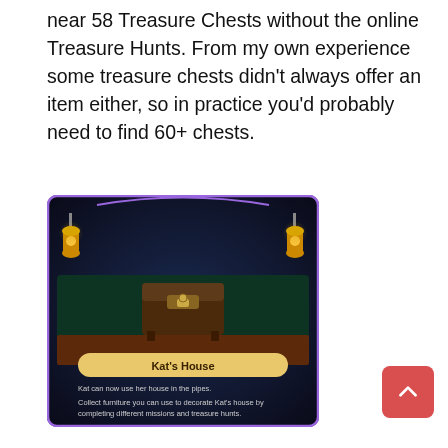near 58 Treasure Chests without the online Treasure Hunts. From my own experience some treasure chests didn't always offer an item either, so in practice you'd probably need to find 60+ chests.
[Figure (screenshot): In-game screenshot showing Kat's House interface with a dark purple/green background, two lanterns, a chest/furniture item, a gold banner reading 'Kat's House', and descriptive text about collecting furniture through missions and treasure hunts.]
It doesn't seem like taking down the servers anytime soon was really part of the plan during development, given this in-game message which specifically tells people to complete treasure hunts to find part of the furniture to decorate Kat's home.
Below you can find a complete list of the items locked